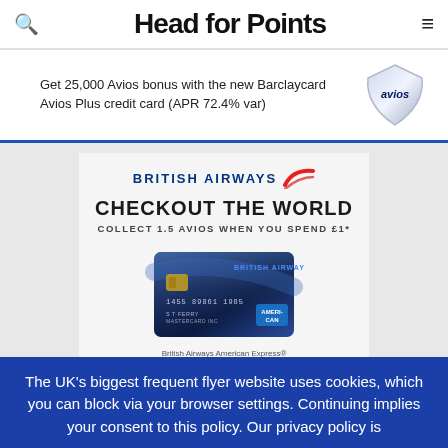Head for Points
Get 25,000 Avios bonus with the new Barclaycard Avios Plus credit card (APR 72.4% var)
[Figure (illustration): British Airways American Express Accelerating Business Card advertisement. Shows BA logo, 'CHECKOUT THE WORLD', 'COLLECT 1.5 AVIOS WHEN YOU SPEND £1*', a credit card image, 'REP. 99.2% APR VARIABLE', and American Express logo.]
The UK's biggest frequent flyer website uses cookies, which you can block via your browser settings. Continuing implies your consent to this policy. Our privacy policy is